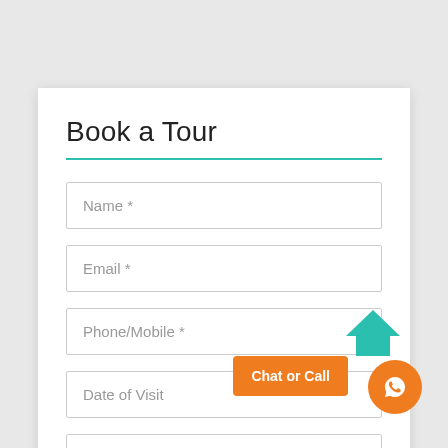Book a Tour
Name *
Email *
Phone/Mobile *
Date of Visit
No. of People
Chat or Call